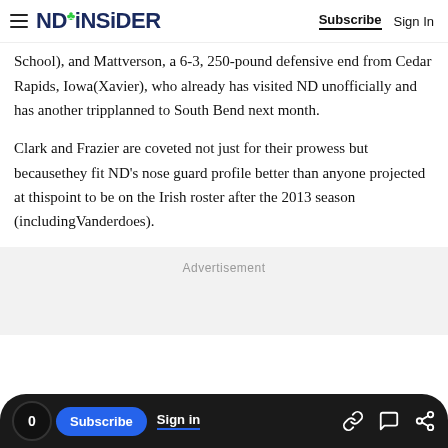NDINSiDER | Subscribe | Sign In
School), and Mattverson, a 6-3, 250-pound defensive end from Cedar Rapids, Iowa(Xavier), who already has visited ND unofficially and has another trip planned to South Bend next month.
Clark and Frazier are coveted not just for their prowess but because they fit ND's nose guard profile better than anyone projected at this point to be on the Irish roster after the 2013 season (including Vanderdoes).
Advertisement